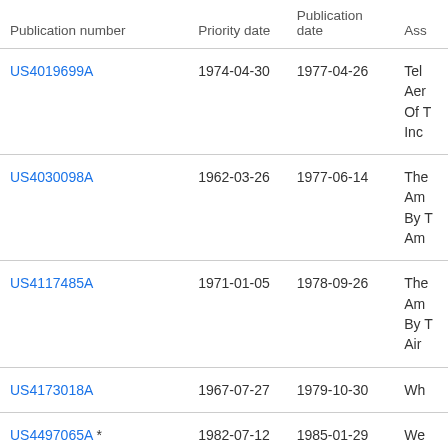| Publication number | Priority date | Publication date | Ass… |
| --- | --- | --- | --- |
| US4019699A | 1974-04-30 | 1977-04-26 | Tel Aer Of Unc Inc |
| US4030098A | 1962-03-26 | 1977-06-14 | The Am By Am |
| US4117485A | 1971-01-05 | 1978-09-26 | The Am By Air |
| US4173018A | 1967-07-27 | 1979-10-30 | Wh |
| US4497065A * | 1982-07-12 | 1985-01-29 | We Cor |
| US4606848A | 1984-08-14 | 1986-08-19 | The Am By |